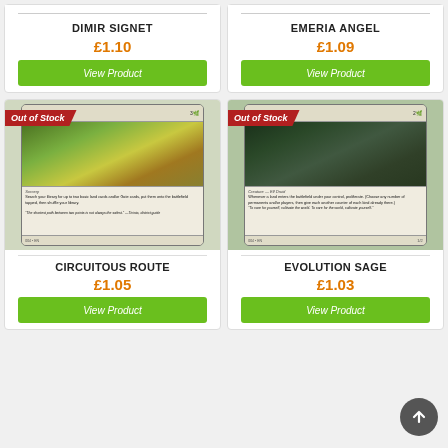DIMIR SIGNET
£1.10
View Product
EMERIA ANGEL
£1.09
View Product
[Figure (photo): Magic: The Gathering card - Circuitous Route, Sorcery card with forest art]
CIRCUITOUS ROUTE
£1.05
View Product
[Figure (photo): Magic: The Gathering card - Evolution Sage, Creature - Elf Druid card with green art]
EVOLUTION SAGE
£1.03
View Product